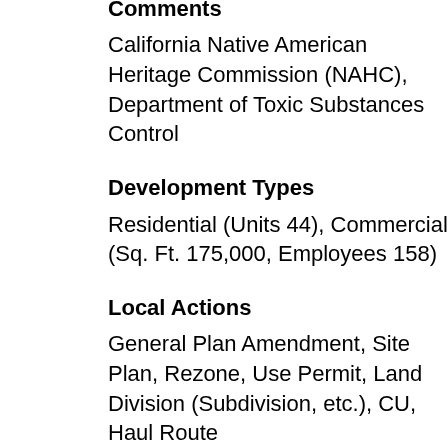State Reviewing Agency Comments
California Native American Heritage Commission (NAHC), Department of Toxic Substances Control
Development Types
Residential (Units 44), Commercial (Sq. Ft. 175,000, Employees 158)
Local Actions
General Plan Amendment, Site Plan, Rezone, Use Permit, Land Division (Subdivision, etc.), CU, Haul Route
Project Issues